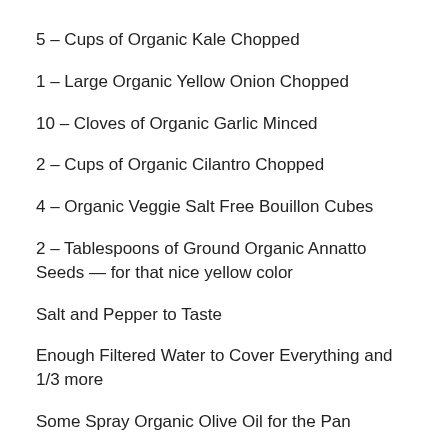5 – Cups of Organic Kale Chopped
1 – Large Organic Yellow Onion Chopped
10 – Cloves of Organic Garlic Minced
2 – Cups of Organic Cilantro Chopped
4 – Organic Veggie Salt Free Bouillon Cubes
2 – Tablespoons of Ground Organic Annatto Seeds — for that nice yellow color
Salt and Pepper to Taste
Enough Filtered Water to Cover Everything and 1/3 more
Some Spray Organic Olive Oil for the Pan